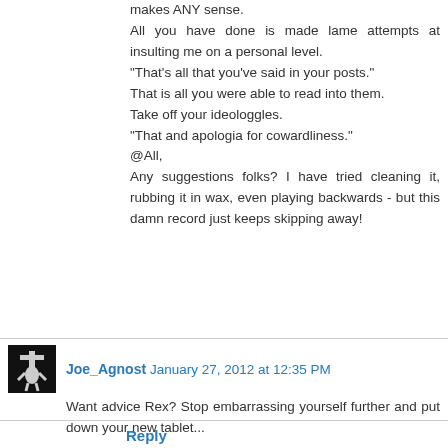makes ANY sense. All you have done is made lame attempts at insulting me on a personal level.
"That's all that you've said in your posts." That is all you were able to read into them. Take off your ideologgles.
"That and apologia for cowardliness."
@All, Any suggestions folks? I have tried cleaning it, rubbing it in wax, even playing backwards - but this damn record just keeps skipping away!
Joe_Agnost  January 27, 2012 at 12:35 PM
Want advice Rex? Stop embarrassing yourself further and put down your new tablet...
Reply